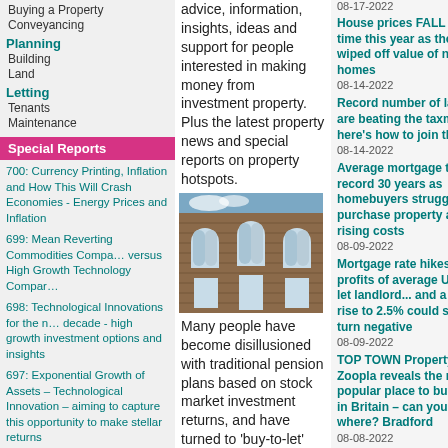Buying a Property
Conveyancing
Planning
Building
Land
Letting
Tenants
Maintenance
Special Reports
700: Currency Printing, Inflation and How This Will Crash Economies - Energy Prices and Inflation
699: Mean Reverting Commodities Compared versus High Growth Technology Companies
698: Technological Innovations for the next decade - high growth investment options and insights
697: Exponential Growth of Assets – Technological Innovation – aiming to capture this opportunity to make stellar returns
696: Crypto Assets - an Education in the Basics - for investors
695: Cryptocurrency investments for property investors
advice, information, insights, ideas and support for people interested in making money from investment property. Plus the latest property news and special reports on property hotspots.
[Figure (photo): Photo of a Victorian-style brick building exterior with arched windows]
Many people have become disillusioned with traditional pension plans based on stock market investment returns, and have turned to 'buy-to-let' property
08-17-2022
House prices FALL for first time this year as thousands wiped off value of new homes
08-14-2022
Record number of landlords are beating the taxman – here's how to join them
08-14-2022
Average mortgage term hits record 30 years as homebuyers struggle to purchase property amid rising costs
08-09-2022
Mortgage rate hikes halve profits of average UK buy-to-let landlord... and a base rate rise to 2.5% could see them turn negative
08-09-2022
TOP TOWN Property site Zoopla reveals the most popular place to buy a home in Britain – can you guess where? Bradford
08-08-2022
House prices dropped in July — are we heading towards a property market crash?
08-08-2022
What would a recession mean for house prices? Experts predict two-fold housing market jolt.
08-06-2022